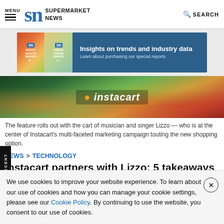MENU | SN SUPERMARKET NEWS | SEARCH
[Figure (advertisement): Supermarket News ad banner: Insights on trends and industry data. Learn about purchasing our special reports.]
[Figure (photo): Instacart branded image with flowers/garden background showing the word 'instacart' with an orange dot]
The feature rolls out with the cart of musician and singer Lizzo — who is at the center of Instacart's multi-faceted marketing campaign touting the new shopping option.
NEWS > TECHNOLOGY
Instacart partners with Lizzo: 5 takeaways
We use cookies to improve your website experience. To learn about our use of cookies and how you can manage your cookie settings, please see our Cookie Policy. By continuing to use the website, you consent to our use of cookies.